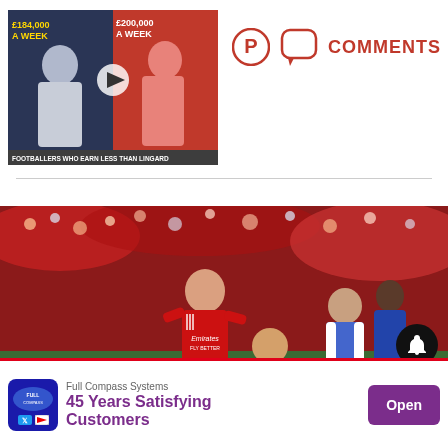[Figure (screenshot): Video thumbnail showing two footballers with salary text overlaid: £184,000 A Week and £200,000 A Week, with caption Footballers Who Earn Less Than Lingard]
[Figure (photo): Social media icons: Pinterest pin icon and comment bubble icon followed by COMMENTS label in red]
[Figure (photo): Football match photo showing a Benfica player in red Emirates kit dribbling against Porto players in blue/white, with crowd in background]
[Figure (screenshot): Advertisement banner: Full Compass Systems - 45 Years Satisfying Customers, with Open button in purple]